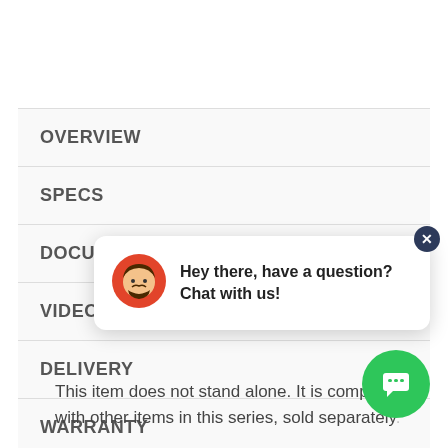OVERVIEW
SPECS
DOCUMENTS
VIDEOS
DELIVERY
WARRANTY
This item does not stand alone. It is compatible with other items in this series, sold separately.
[Figure (screenshot): Live chat popup with avatar saying 'Hey there, have a question? Chat with us!' and a green chat button]